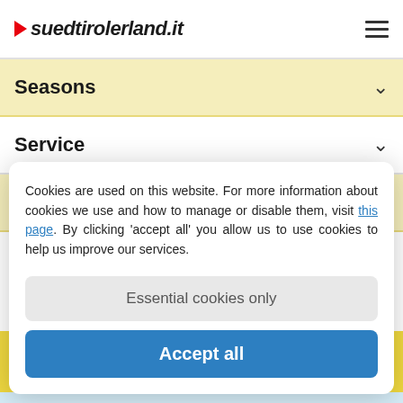suedtirolerland.it
Seasons
Service
Tourism portals
Cookies are used on this website. For more information about cookies we use and how to manage or disable them, visit this page. By clicking 'accept all' you allow us to use cookies to help us improve our services.
Essential cookies only
Accept all
★ ★ ★ S  Hotel Digon  Family holidays in the middle of greenery